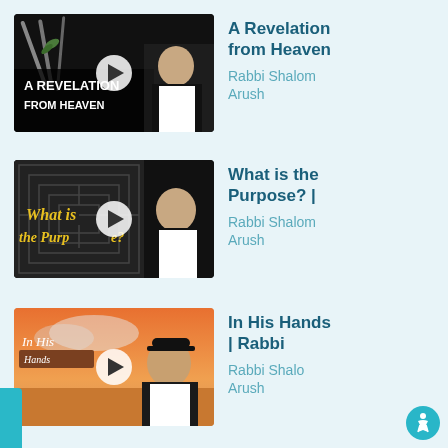[Figure (screenshot): Video thumbnail for 'A Revelation from Heaven' showing cutlery on dark background and a rabbi. Has play button overlay.]
A Revelation from Heaven
Rabbi Shalom Arush
[Figure (screenshot): Video thumbnail for 'What is the Purpose?' showing maze pattern background and a rabbi. Has play button overlay.]
What is the Purpose? |
Rabbi Shalom Arush
[Figure (screenshot): Video thumbnail for 'In His Hands | Rabbi' showing warm sky background and a rabbi. Has play button overlay.]
In His Hands | Rabbi
Rabbi Shalom Arush